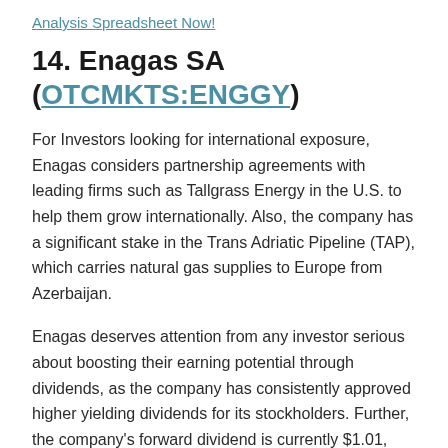Analysis Spreadsheet Now!
14. Enagas SA (OTCMKTS:ENGGY)
For Investors looking for international exposure, Enagas considers partnership agreements with leading firms such as Tallgrass Energy in the U.S. to help them grow internationally. Also, the company has a significant stake in the Trans Adriatic Pipeline (TAP), which carries natural gas supplies to Europe from Azerbaijan.
Enagas deserves attention from any investor serious about boosting their earning potential through dividends, as the company has consistently approved higher yielding dividends for its stockholders. Further, the company's forward dividend is currently $1.01, which represents a potential 9.35% yield.